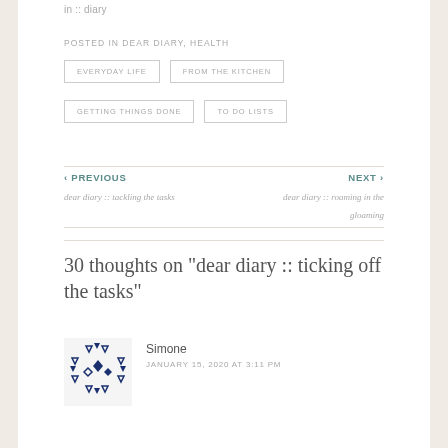in :: diary
POSTED IN DEAR DIARY, HEALTH
EVERYDAY LIFE
FROM THE KITCHEN
GETTING THINGS DONE
TO DO LISTS
‹ PREVIOUS
dear diary :: tackling the tasks
NEXT ›
dear diary :: roaming in the gloaming
30 thoughts on "dear diary :: ticking off the tasks"
Simone
JANUARY 15, 2020 AT 3:11 PM